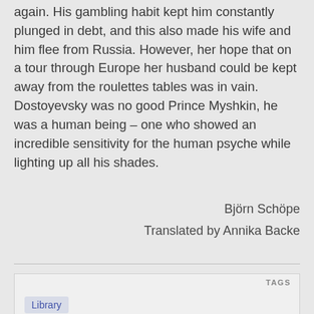again. His gambling habit kept him constantly plunged in debt, and this also made his wife and him flee from Russia. However, her hope that on a tour through Europe her husband could be kept away from the roulettes tables was in vain. Dostoyevsky was no good Prince Myshkin, he was a human being – one who showed an incredible sensitivity for the human psyche while lighting up all his shades.
Björn Schöpe
Translated by Annika Backe
TAGS
Library
AUTHOR
Schöpe Björn